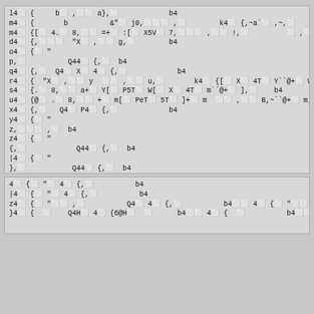Code/data block 1 — assembly or encoded source listing
Code/data block 2 — continuation of assembly or encoded source listing